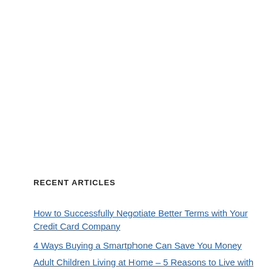RECENT ARTICLES
How to Successfully Negotiate Better Terms with Your Credit Card Company
4 Ways Buying a Smartphone Can Save You Money
Adult Children Living at Home – 5 Reasons to Live with your